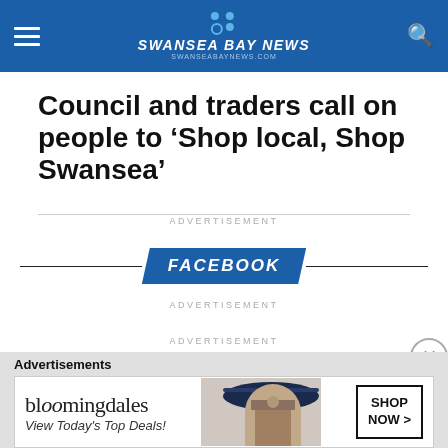SWANSEA BAY NEWS | swanseabaynews.com
Council and traders call on people to 'Shop local, Shop Swansea'
ADVERTISEMENT
[Figure (logo): Facebook banner button with horizontal lines on each side]
ADVERTISEMENT
ADVERTISEMENT
[Figure (other): Bloomingdales advertisement: 'View Today's Top Deals!' with SHOP NOW button and woman in hat]